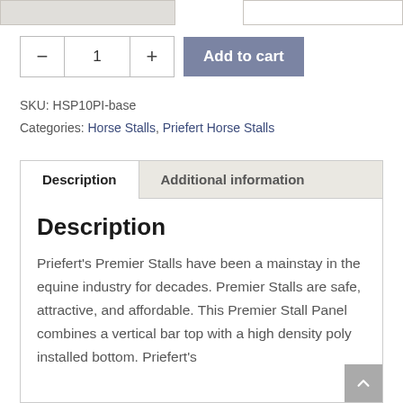[Figure (screenshot): Top bar with two rectangular sections, left one grey and right one with border]
— 1 + Add to cart
SKU: HSP10PI-base
Categories: Horse Stalls, Priefert Horse Stalls
Description
Additional information
Description
Priefert's Premier Stalls have been a mainstay in the equine industry for decades. Premier Stalls are safe, attractive, and affordable. This Premier Stall Panel combines a vertical bar top with a high density poly installed bottom. Priefert's